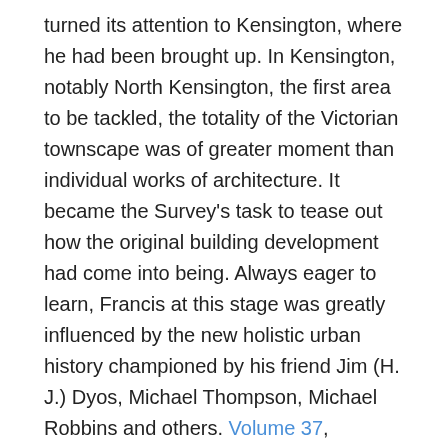turned its attention to Kensington, where he had been brought up. In Kensington, notably North Kensington, the first area to be tackled, the totality of the Victorian townscape was of greater moment than individual works of architecture. It became the Survey's task to tease out how the original building development had come into being. Always eager to learn, Francis at this stage was greatly influenced by the new holistic urban history championed by his friend Jim (H. J.) Dyos, Michael Thompson, Michael Robbins and others. Volume 37, Northern Kensington, published in 1973, represented a fresh breakthrough. It has been many people's favourite volume of the Survey ever since, with its beautiful drawings arranged in a freshly graceful format by the architectural editor of the time, James Stevens Curl, and largely drawn by the gifted John Sambrook. As to the text of Volume 37, packed with revelations about the